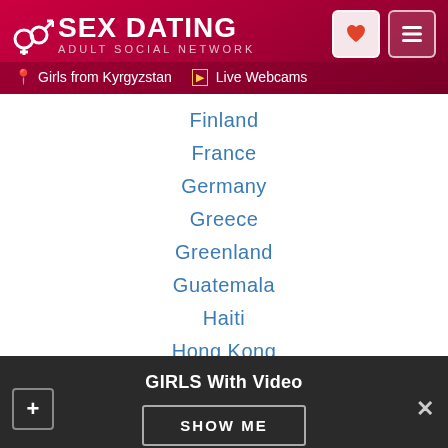SEX DATING ADULT SOCIAL NETWORK | Girls from Kyrgyzstan | Live Webcams
Finland
France
Germany
Greece
Greenland
Guatemala
Haiti
Hong Kong
Hungary
India
Indonesia
Iran
Ireland
GIRLS With Video | SHOW ME